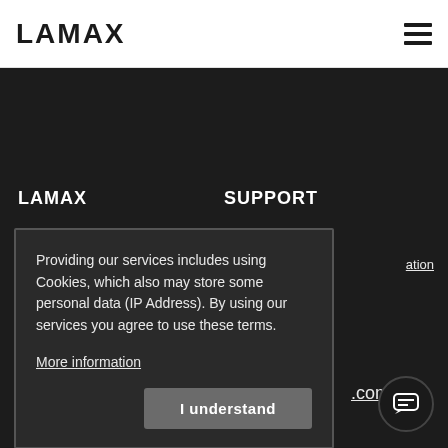LAMAX
LAMAX
SUPPORT
ation
Providing our services includes using Cookies, which also may store some personal data (IP Address). By using our services you agree to use these terms.

More information
I understand
.com
[Figure (other): Chat support button icon]